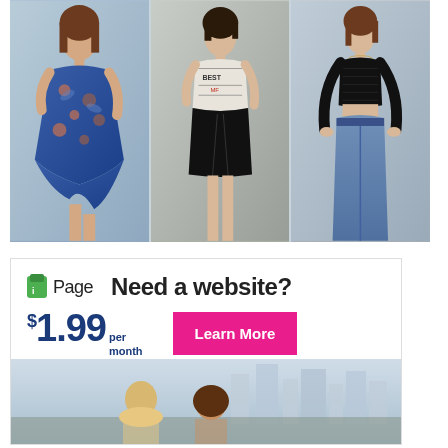[Figure (photo): Three female fashion models shown side by side. Left: woman in blue floral asymmetric mini dress. Center: woman in graphic print crop top with black lace-up mini skirt. Right: woman in black long-sleeve mesh crop top with blue high-waist jeans.]
[Figure (infographic): iPage web hosting advertisement. Logo shows green icon with 'iPage' text. Headline: 'Need a website?' Price shown as '$1.99 per month'. Pink 'Learn More' button. Background shows two people on a rooftop with city skyline.]